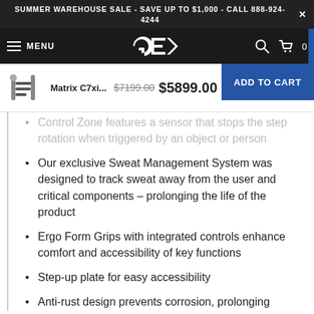SUMMER WAREHOUSE SALE - SAVE UP TO $1,000 - CALL 888-924-4244
[Figure (screenshot): Navigation bar with hamburger menu, MENU label, GE logo, search icon, and cart icon with 0 items]
[Figure (screenshot): Sticky add-to-cart bar showing Matrix C7xi... product image, original price $7199.00 struck through, sale price $5899.00, and ADD TO CART button]
Control Zone features a sensor that stops the step rotation when triggered by an object or person
Our exclusive Sweat Management System was designed to track sweat away from the user and critical components – prolonging the life of the product
Ergo Form Grips with integrated controls enhance comfort and accessibility of key functions
Step-up plate for easy accessibility
Anti-rust design prevents corrosion, prolonging